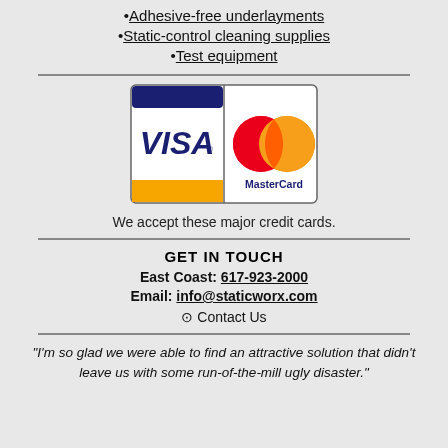Adhesive-free underlayments
Static-control cleaning supplies
Test equipment
[Figure (logo): Visa and MasterCard credit card logos side by side]
We accept these major credit cards.
GET IN TOUCH
East Coast: 617-923-2000
Email: info@staticworx.com
⊙ Contact Us
“I’m so glad we were able to find an attractive solution that didn’t leave us with some run-of-the-mill ugly disaster.”